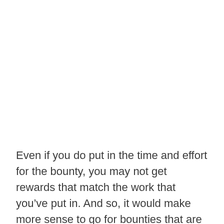Even if you do put in the time and effort for the bounty, you may not get rewards that match the work that you've put in. And so, it would make more sense to go for bounties that are actually worth it.
How to Change the Bounty in Diablo